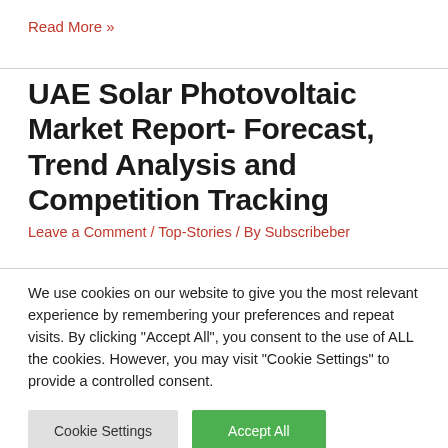Read More »
UAE Solar Photovoltaic Market Report- Forecast, Trend Analysis and Competition Tracking
Leave a Comment / Top-Stories / By Subscribeber
We use cookies on our website to give you the most relevant experience by remembering your preferences and repeat visits. By clicking "Accept All", you consent to the use of ALL the cookies. However, you may visit "Cookie Settings" to provide a controlled consent.
Cookie Settings | Accept All